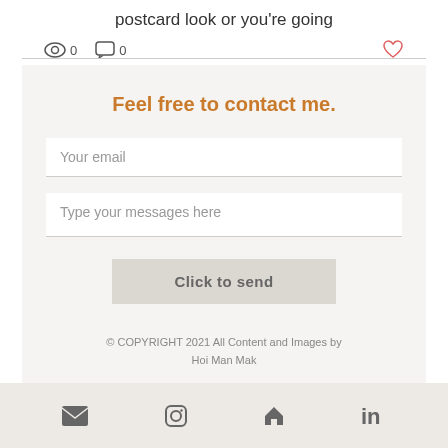postcard look or you're going
[Figure (screenshot): View count icon with 0 and comment icon with 0, and a heart icon on the right]
Feel free to contact me.
Your email
Type your messages here
Click to send
© COPYRIGHT 2021 All Content and Images by Hoi Man Mak
[Figure (screenshot): Footer navigation bar with email, Instagram, home, and LinkedIn icons]